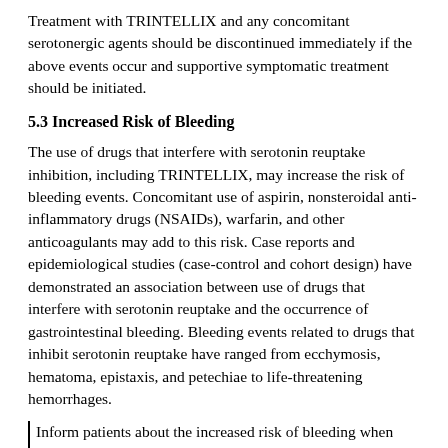Treatment with TRINTELLIX and any concomitant serotonergic agents should be discontinued immediately if the above events occur and supportive symptomatic treatment should be initiated.
5.3 Increased Risk of Bleeding
The use of drugs that interfere with serotonin reuptake inhibition, including TRINTELLIX, may increase the risk of bleeding events. Concomitant use of aspirin, nonsteroidal anti-inflammatory drugs (NSAIDs), warfarin, and other anticoagulants may add to this risk. Case reports and epidemiological studies (case-control and cohort design) have demonstrated an association between use of drugs that interfere with serotonin reuptake and the occurrence of gastrointestinal bleeding. Bleeding events related to drugs that inhibit serotonin reuptake have ranged from ecchymosis, hematoma, epistaxis, and petechiae to life-threatening hemorrhages.
Inform patients about the increased risk of bleeding when TRINTELLIX is coadministered with NSAIDs, aspirin, or other drugs that affect coagulation or bleeding. For patients taking warfarin, carefully monitor coagulation indices when initiating, titrating, or discontinuing TRINTELLIX [see Drug Interactions (7.1)].
5.4 Activation of Mania/Hypomania